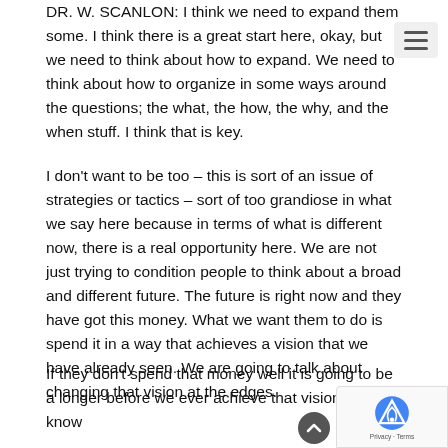DR. W. SCANLON: I think we need to expand them some. I think there is a great start here, okay, but we need to think about how to expand. We need to think about how to organize in some ways around the questions; the what, the how, the why, and the when stuff. I think that is key.
I don't want to be too – this is sort of an issue of strategies or tactics – sort of too grandiose in what we say here because in terms of what is different now, there is a real opportunity here. We are not just trying to condition people to think about a broad and different future. The future is right now and they have got this money. What we want them to do is spend it in a way that achieves a vision that we have already seen. We are going to talk about changing that vision at the edges.
If they don't spend that money well it is going to be a longer before we ever achieve that vision. I don't know